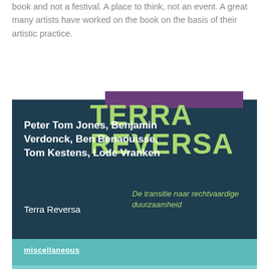book and not a festival. A place to think, not an event. A great many artists have worked on the book on the basis of their artistic practice.
[Figure (illustration): Book cover of 'Terra Reversa' with dark teal/navy background showing large lime-green TERRA REVERSA text, author names in white bold (Peter Tom Jones, Benjamin Verdonck, Ben Benaouisse, Tom Kestens, Lode Vranken), subtitle in italic green 'De transitie naar rechtvaardige duurzaamheid', a teal lower section with 'miscellaneous' tag, and a cityscape illustration with green trees and buildings.]